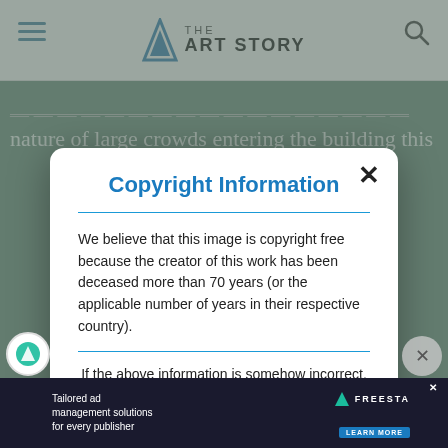THE ART STORY
nature of large crowds entering the building this
Copyright Information
We believe that this image is copyright free because the creator of this work has been deceased more than 70 years (or the applicable number of years in their respective country).
If the above information is somehow incorrect, please contact us and we will resolve immediately.